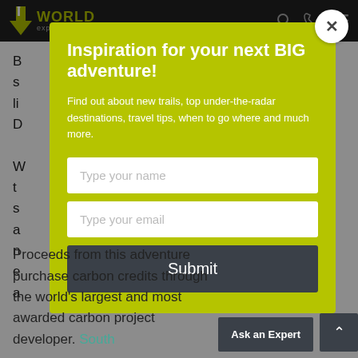[Figure (screenshot): World Expeditions website navigation bar with logo showing a hiker icon and 'WORLD expeditions' text in olive/yellow color, with search and phone icons on the right]
B... s... li... D...
Inspiration for your next BIG adventure!
Find out about new trails, top under-the-radar destinations, travel tips, when to go where and much more.
Type your name
Type your email
Submit
Proceeds from this adventure purchase carbon credits through the world's largest and most awarded carbon project developer. South